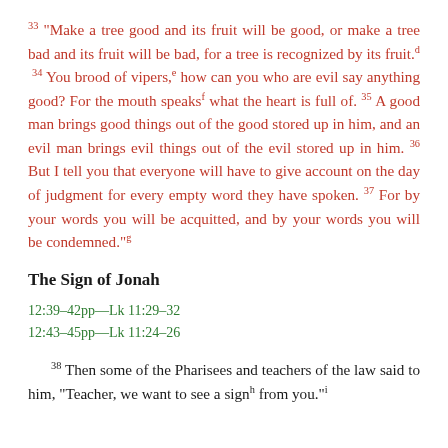33 “Make a tree good and its fruit will be good, or make a tree bad and its fruit will be bad, for a tree is recognized by its fruit.d 34 You brood of vipers,e how can you who are evil say anything good? For the mouth speaksf what the heart is full of. 35 A good man brings good things out of the good stored up in him, and an evil man brings evil things out of the evil stored up in him. 36 But I tell you that everyone will have to give account on the day of judgment for every empty word they have spoken. 37 For by your words you will be acquitted, and by your words you will be condemned.”g
The Sign of Jonah
12:39–42pp—Lk 11:29–32
12:43–45pp—Lk 11:24–26
38 Then some of the Pharisees and teachers of the law said to him, “Teacher, we want to see a signh from you.”i